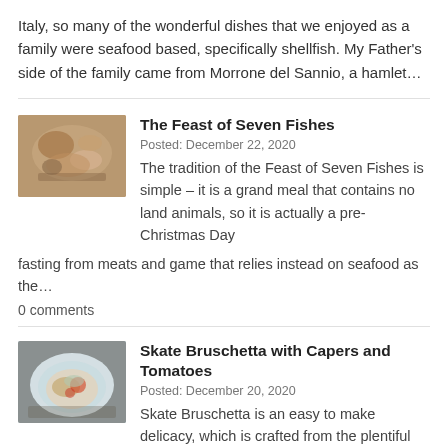Italy, so many of the wonderful dishes that we enjoyed as a family were seafood based, specifically shellfish. My Father's side of the family came from Morrone del Sannio, a hamlet…
The Feast of Seven Fishes
Posted: December 22, 2020
[Figure (photo): A plate of various seafood dishes including shellfish and pasta]
The tradition of the Feast of Seven Fishes is simple – it is a grand meal that contains no land animals, so it is actually a pre-Christmas Day fasting from meats and game that relies instead on seafood as the…
0 comments
Skate Bruschetta with Capers and Tomatoes
Posted: December 20, 2020
[Figure (photo): A plate of Skate Bruschetta with capers and tomatoes on a blue and white plate]
Skate Bruschetta is an easy to make delicacy, which is crafted from the plentiful North Atlantic Skate. This fish can be found anywhere along the extensive coastlines